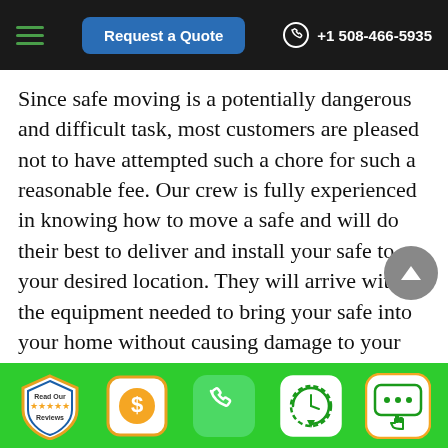Request a Quote | +1 508-466-5935
Since safe moving is a potentially dangerous and difficult task, most customers are pleased not to have attempted such a chore for such a reasonable fee. Our crew is fully experienced in knowing how to move a safe and will do their best to deliver and install your safe to your desired location. They will arrive with all the equipment needed to bring your safe into your home without causing damage to your floors and walls. The crew will treat your home and property as if it were their own. Once the job is done, the crew will clean up all packing materials and any debris from the
Read Our Reviews | $ | Phone | Clock | Chat